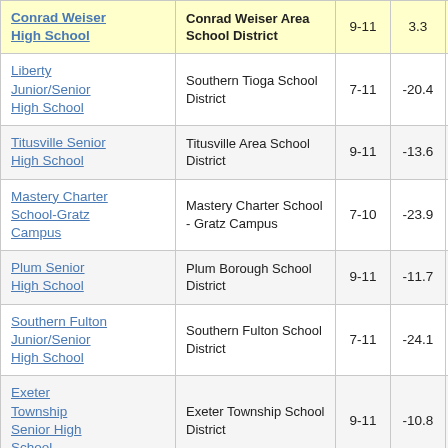| School | District | Grades | Score |  |
| --- | --- | --- | --- | --- |
| Conrad Weiser High School | Conrad Weiser Area School District | 9-11 | 3.3 | 2 |
| Liberty Junior/Senior High School | Southern Tioga School District | 7-11 | -20.4 | 4 |
| Titusville Senior High School | Titusville Area School District | 9-11 | -13.6 | 3 |
| Mastery Charter School-Gratz Campus | Mastery Charter School - Gratz Campus | 7-10 | -23.9 | 4 |
| Plum Senior High School | Plum Borough School District | 9-11 | -11.7 | 3 |
| Southern Fulton Junior/Senior High School | Southern Fulton School District | 7-11 | -24.1 | 4 |
| Exeter Township Senior High School | Exeter Township School District | 9-11 | -10.8 |  |